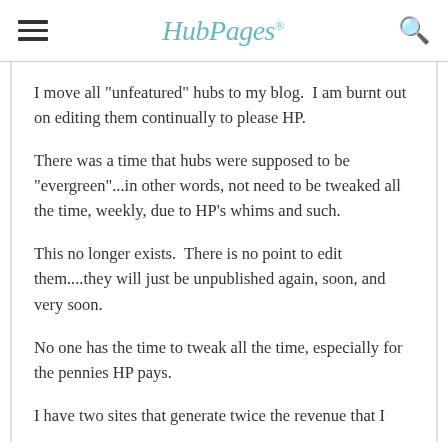HubPages
I move all "unfeatured" hubs to my blog.  I am burnt out on editing them continually to please HP.
There was a time that hubs were supposed to be "evergreen"...in other words, not need to be tweaked all the time, weekly, due to HP's whims and such.
This no longer exists.  There is no point to edit them....they will just be unpublished again, soon, and very soon.
No one has the time to tweak all the time, especially for the pennies HP pays.
I have two sites that generate twice the revenue that I